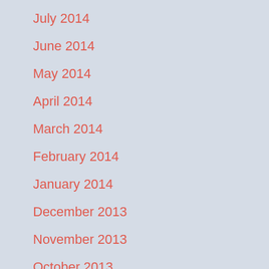July 2014
June 2014
May 2014
April 2014
March 2014
February 2014
January 2014
December 2013
November 2013
October 2013
September 2013
August 2013
July 2013